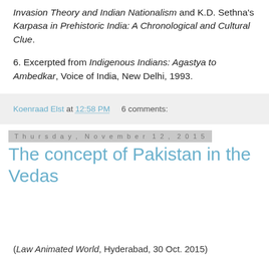Invasion Theory and Indian Nationalism and K.D. Sethna's Karpasa in Prehistoric India: A Chronological and Cultural Clue.
6. Excerpted from Indigenous Indians: Agastya to Ambedkar, Voice of India, New Delhi, 1993.
Koenraad Elst at 12:58 PM     6 comments:
Thursday, November 12, 2015
The concept of Pakistan in the Vedas
(Law Animated World, Hyderabad, 30 Oct. 2015)